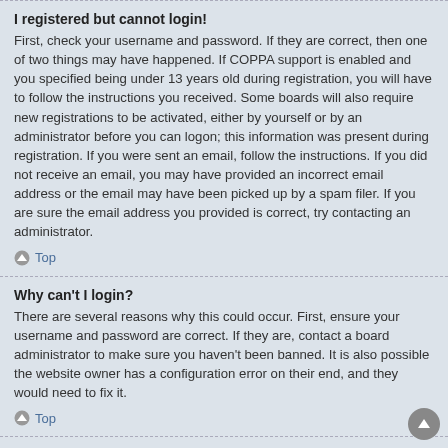I registered but cannot login!
First, check your username and password. If they are correct, then one of two things may have happened. If COPPA support is enabled and you specified being under 13 years old during registration, you will have to follow the instructions you received. Some boards will also require new registrations to be activated, either by yourself or by an administrator before you can logon; this information was present during registration. If you were sent an email, follow the instructions. If you did not receive an email, you may have provided an incorrect email address or the email may have been picked up by a spam filer. If you are sure the email address you provided is correct, try contacting an administrator.
Top
Why can't I login?
There are several reasons why this could occur. First, ensure your username and password are correct. If they are, contact a board administrator to make sure you haven't been banned. It is also possible the website owner has a configuration error on their end, and they would need to fix it.
Top
I registered in the past but cannot login any more?!
It is possible an administrator has deactivated or deleted your account for some reason. Also, many boards periodically remove users who have not posted for a long time to reduce the size of the database. If this has happened, try registering